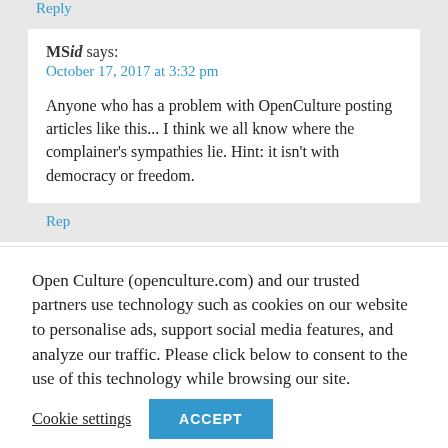Reply
MSid says:
October 17, 2017 at 3:32 pm
Anyone who has a problem with OpenCulture posting articles like this... I think we all know where the complainer's sympathies lie. Hint: it isn't with democracy or freedom.
Reply
Open Culture (openculture.com) and our trusted partners use technology such as cookies on our website to personalise ads, support social media features, and analyze our traffic. Please click below to consent to the use of this technology while browsing our site.
Cookie settings
ACCEPT